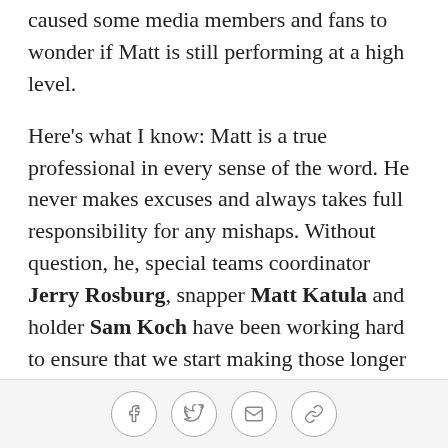caused some media members and fans to wonder if Matt is still performing at a high level.
Here's what I know: Matt is a true professional in every sense of the word. He never makes excuses and always takes full responsibility for any mishaps. Without question, he, special teams coordinator Jerry Rosburg, snapper Matt Katula and holder Sam Koch have been working hard to ensure that we start making those longer kicks again. In fact, if history is any indication, I'd be shocked if Matt doesn't concoct a game-winner or two this year. (He actually has 13 during his career, including at least one in six consecutive seasons.)
So fear not, Ravens faithful... If you look at the tape, Matt has plenty of pop to his kicks. Our coaches know
Social share icons: Facebook, Twitter, Email, Link